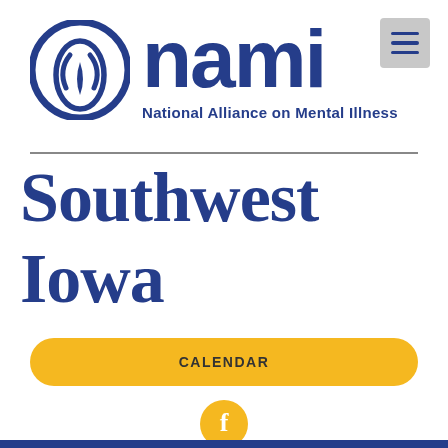[Figure (logo): NAMI (National Alliance on Mental Illness) Southwest Iowa logo. Features the NAMI circular icon on the left with the bold lowercase 'nami' wordmark, the text 'National Alliance on Mental Illness' below, a horizontal divider, and 'Southwest Iowa' in large serif text.]
CALENDAR
[Figure (logo): Facebook 'f' icon button in a gold/yellow circle]